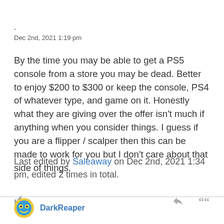-
Dec 2nd, 2021 1:19 pm
By the time you may be able to get a PS5 console from a store you may be dead. Better to enjoy $200 to $300 or keep the console, PS4 of whatever type, and game on it. Honestly what they are giving over the offer isn't much if anything when you consider things. I guess if you are a flipper / scalper then this can be made to work for you but I don't care about that side of things.
Last edited by Saleaway on Dec 2nd, 2021 1:34 pm, edited 2 times in total.
DarkReaper